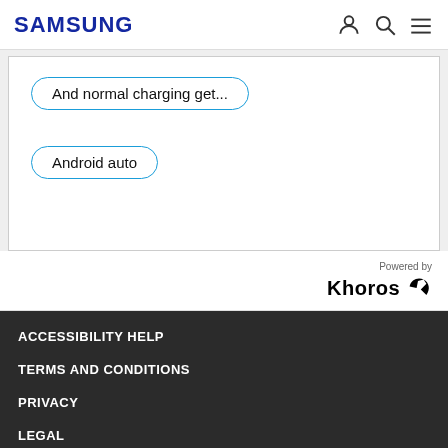SAMSUNG
[Figure (screenshot): Content area with two pill-shaped tag buttons: 'And normal charging get...' and 'Android auto']
Powered by Khoros
ACCESSIBILITY HELP
TERMS AND CONDITIONS
PRIVACY
LEGAL